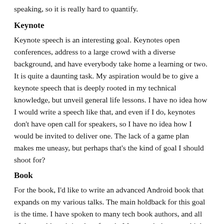speaking, so it is really hard to quantify.
Keynote
Keynote speech is an interesting goal. Keynotes open conferences, address to a large crowd with a diverse background, and have everybody take home a learning or two. It is quite a daunting task. My aspiration would be to give a keynote speech that is deeply rooted in my technical knowledge, but unveil general life lessons. I have no idea how I would write a speech like that, and even if I do, keynotes don't have open call for speakers, so I have no idea how I would be invited to deliver one. The lack of a game plan makes me uneasy, but perhaps that's the kind of goal I should shoot for?
Book
For the book, I'd like to write an advanced Android book that expands on my various talks. The main holdback for this goal is the time. I have spoken to many tech book authors, and all of them told me it is a lot of work. More work than you think, and then some more. I have so many projects going on that I am not sure if I should take on such a big goal.
No Resolution